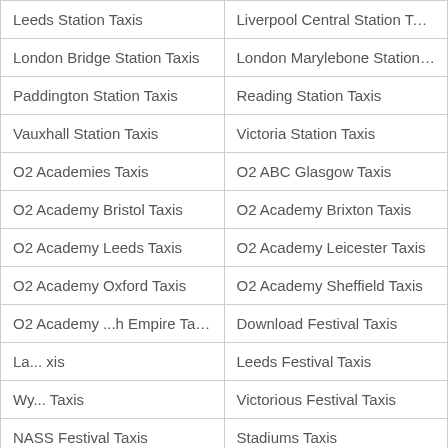| Leeds Station Taxis | Liverpool Central Station Taxis |
| London Bridge Station Taxis | London Marylebone Station Tax |
| Paddington Station Taxis | Reading Station Taxis |
| Vauxhall Station Taxis | Victoria Station Taxis |
| O2 Academies Taxis | O2 ABC Glasgow Taxis |
| O2 Academy Bristol Taxis | O2 Academy Brixton Taxis |
| O2 Academy Leeds Taxis | O2 Academy Leicester Taxis |
| O2 Academy Oxford Taxis | O2 Academy Sheffield Taxis |
| O2 Academy ..h Empire Taxis | Download Festival Taxis |
| La... xis | Leeds Festival Taxis |
| Wy... Taxis | Victorious Festival Taxis |
| NASS Festival Taxis | Stadiums Taxis |
| Kingsholm Stadium Taxis | Leicester Stadium Taxis |